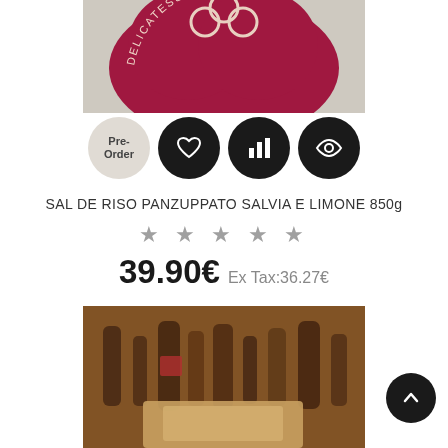[Figure (photo): Top product image showing a delicatessen logo on a beige/tan background with a dark red/crimson blob shape containing text 'DELICATESSEN DAL 1952'. Below the image are action buttons: Pre-Order (grey circle), heart/wishlist icon (black circle), bar chart icon (black circle), and eye/view icon (black circle).]
SAL DE RISO PANZUPPATO SALVIA E LIMONE 850g
★ ★ ★ ★ ★
39.90€ Ex Tax:36.27€
[Figure (photo): Bottom product image showing a warm-toned photograph of bottles on shelves in a delicatessen/store setting, with a partially visible product in the foreground.]